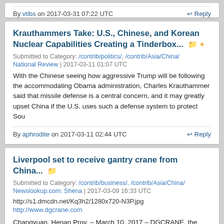By vtibs on 2017-03-31 07:22 UTC  ↩ Reply
Krauthammers Take: U.S., Chinese, and Korean Nuclear Capabilities Creating a Tinderbox...
Submitted to Category: /contrib/politics/, /contrib/Asia/China/
National Review | 2017-03-11 01:07 UTC
With the Chinese seeing how aggressive Trump will be following the accommodating Obama administration, Charles Krauthammer said that missile defense is a central concern, and it may greatly upset China if the U.S. uses such a defense system to protect Sou
By aphrodite on 2017-03-11 02:44 UTC  ↩ Reply
Liverpool set to receive gantry crane from China...
Submitted to Category: /contrib/business/, /contrib/Asia/China/
Newslookup.com: Shena | 2017-03-09 16:33 UTC
http://s1.dmcdn.net/Kq3h2/1280x720-N3P.jpg
http://www.dgcrane.com
Changyuan, Henan Prov. – March 10, 2017 – DGCRANE, the trusted professional overhead crane manufacturer in China, is set to deliver 2 sets of gantry crane to Liverpool this end of March.
Two sets of 30-ton double girder gantry crane...